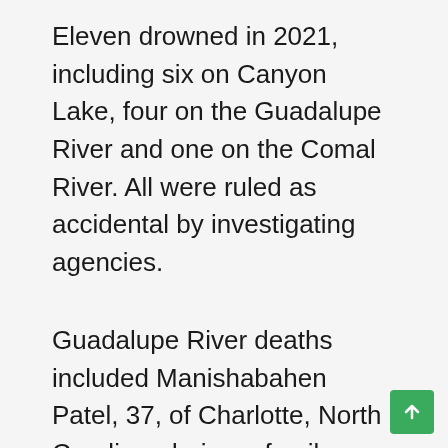Eleven drowned in 2021, including six on Canyon Lake, four on the Guadalupe River and one on the Comal River. All were ruled as accidental by investigating agencies.
Guadalupe River deaths included Manishabahen Patel, 37, of Charlotte, North Carolina, during a family outing last Oct. 31; Jesus Miguel Romero, 18, of New Braunfels, found on a river bank in the 1200 block of Gruene Road on July 30; and Victor Villanueva, 30, and Casandra Kendrick, 22, both of Guadalupe County, who died June 13 while trying to save children caught in swift current near the